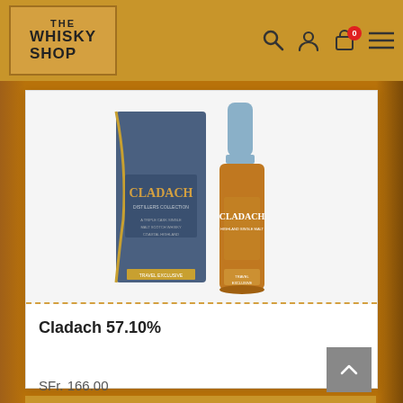The Whisky Shop
[Figure (photo): Photo of Cladach whisky bottle (57.10% ABV) and its navy blue gift box packaging, showing the Cladach label prominently on both.]
Cladach 57.10%
SFr. 166.00